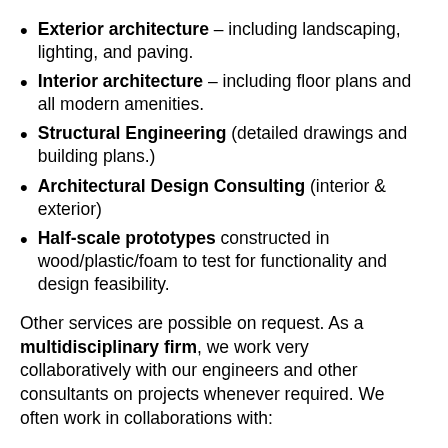Exterior architecture – including landscaping, lighting, and paving.
Interior architecture – including floor plans and all modern amenities.
Structural Engineering (detailed drawings and building plans.)
Architectural Design Consulting (interior & exterior)
Half-scale prototypes constructed in wood/plastic/foam to test for functionality and design feasibility.
Other services are possible on request. As a multidisciplinary firm, we work very collaboratively with our engineers and other consultants on projects whenever required. We often work in collaborations with: